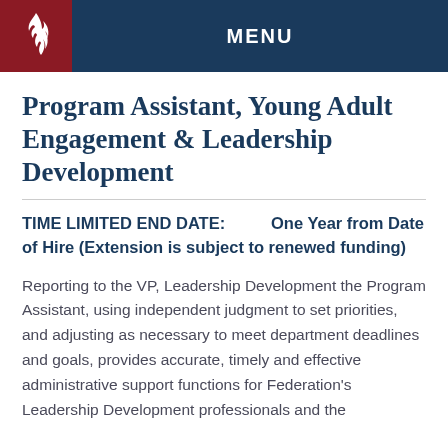MENU
Program Assistant, Young Adult Engagement & Leadership Development
TIME LIMITED END DATE:        One Year from Date of Hire (Extension is subject to renewed funding)
Reporting to the VP, Leadership Development the Program Assistant, using independent judgment to set priorities, and adjusting as necessary to meet department deadlines and goals, provides accurate, timely and effective administrative support functions for Federation's Leadership Development professionals and the